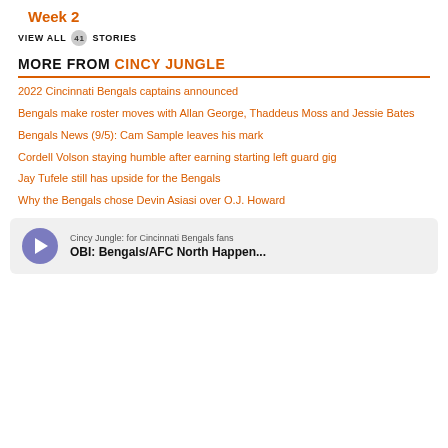Week 2
VIEW ALL 41 STORIES
MORE FROM CINCY JUNGLE
2022 Cincinnati Bengals captains announced
Bengals make roster moves with Allan George, Thaddeus Moss and Jessie Bates
Bengals News (9/5): Cam Sample leaves his mark
Cordell Volson staying humble after earning starting left guard gig
Jay Tufele still has upside for the Bengals
Why the Bengals chose Devin Asiasi over O.J. Howard
[Figure (other): Podcast card with play button: Cincy Jungle: for Cincinnati Bengals fans — OBI: Bengals/AFC North Happen...]